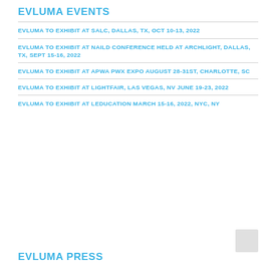EVLUMA EVENTS
EVLUMA TO EXHIBIT AT SALC, DALLAS, TX, OCT 10-13, 2022
EVLUMA TO EXHIBIT AT NAILD CONFERENCE HELD AT ARCHLIGHT, DALLAS, TX, SEPT 15-16, 2022
EVLUMA TO EXHIBIT AT APWA PWX EXPO AUGUST 28-31ST, CHARLOTTE, SC
EVLUMA TO EXHIBIT AT LIGHTFAIR, LAS VEGAS, NV JUNE 19-23, 2022
EVLUMA TO EXHIBIT AT LEDUCATION MARCH 15-16, 2022, NYC, NY
EVLUMA PRESS